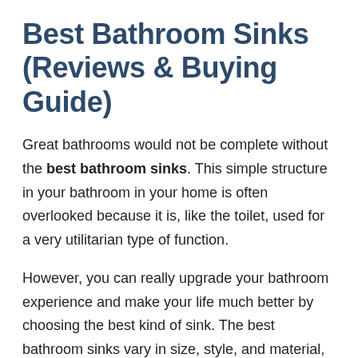Best Bathroom Sinks (Reviews & Buying Guide)
Great bathrooms would not be complete without the best bathroom sinks. This simple structure in your bathroom in your home is often overlooked because it is, like the toilet, used for a very utilitarian type of function.
However, you can really upgrade your bathroom experience and make your life much better by choosing the best kind of sink. The best bathroom sinks vary in size, style, and material, and the truly best bathroom sink is only as good as what you need